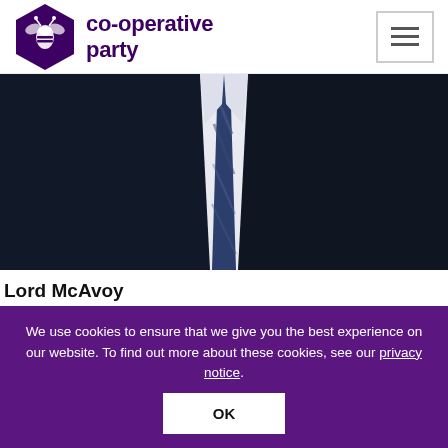co-operative party
[Figure (photo): Close-up photo of a person in a dark suit jacket, white shirt, and blue/dark plaid tie. Only torso visible.]
Lord McAvoy
View More
We use cookies to ensure that we give you the best experience on our website. To find out more about these cookies, see our privacy notice.
OK